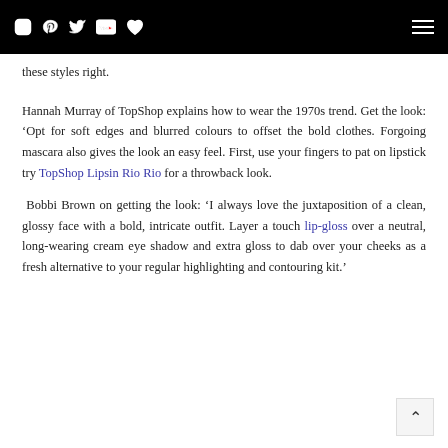[social icons: Instagram, Pinterest, Twitter, YouTube, Heart] [hamburger menu]
these styles right.
Hannah Murray of TopShop explains how to wear the 1970s trend. Get the look: ‘Opt for soft edges and blurred colours to offset the bold clothes. Forgoing mascara also gives the look an easy feel. First, use your fingers to pat on lipstick try TopShop Lipsin Rio Rio for a throwback look.
Bobbi Brown on getting the look: ‘I always love the juxtaposition of a clean, glossy face with a bold, intricate outfit. Layer a touch lip-gloss over a neutral, long-wearing cream eye shadow and extra gloss to dab over your cheeks as a fresh alternative to your regular highlighting and contouring kit.’